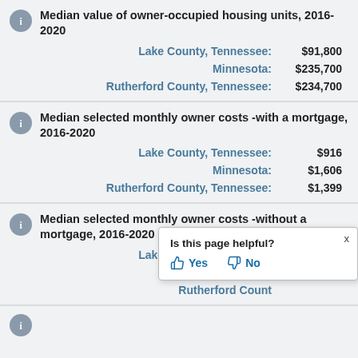Median value of owner-occupied housing units, 2016-2020
Lake County, Tennessee: $91,800
Minnesota: $235,700
Rutherford County, Tennessee: $234,700
Median selected monthly owner costs -with a mortgage, 2016-2020
Lake County, Tennessee: $916
Minnesota: $1,606
Rutherford County, Tennessee: $1,399
Median selected monthly owner costs -without a mortgage, 2016-2020
Lake County, Tennessee: $386
Minnesota: $548
Rutherford County, Tennessee: (partially obscured)
Is this page helpful? Yes No